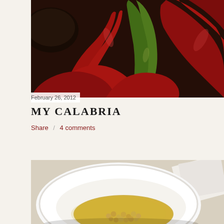[Figure (photo): Close-up photo of red and green chili peppers piled together with a dark bowl in the background]
February 26, 2012
MY CALABRIA
Share   4 comments
[Figure (photo): A white bowl containing chickpeas in golden olive oil or broth, photographed from above]